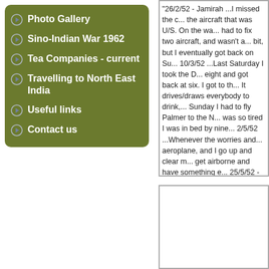Photo Gallery
Sino-Indian War 1962
Tea Companies - current
Travelling to North East India
Useful links
Contact us
"26/2/52 - Jamirah ...I missed the c... the aircraft that was U/S. On the wa... had to fix two aircraft, and wasn't a... bit, but I eventually got back on Su... 10/3/52 ...Last Saturday I took the D... eight and got back at six. I got to th... It drives/draws everybody to drink,... Sunday I had to fly Palmer to the N... was so tired I was in bed by nine... 2/5/52 ...Whenever the worries and... aeroplane, and I go up and clear m... get airborne and have something e... 25/5/52 - Jamirah ...Johnny was ill y... terrifying because I had to fly in so...
[Figure (other): Empty bordered box, likely placeholder for an image]